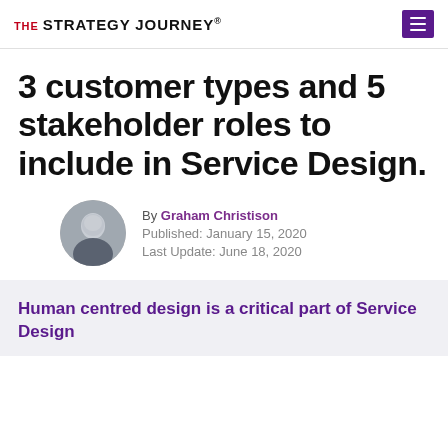THE STRATEGY JOURNEY®
3 customer types and 5 stakeholder roles to include in Service Design.
By Graham Christison
Published: January 15, 2020
Last Update: June 18, 2020
Human centred design is a critical part of Service Design